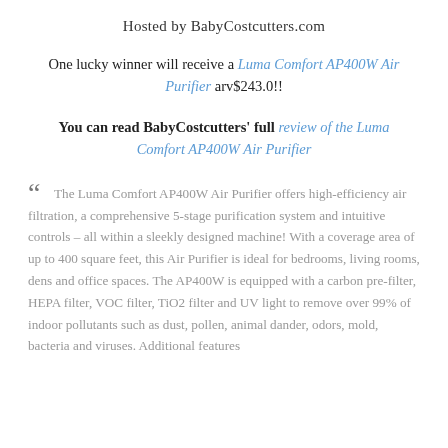Hosted by BabyCostcutters.com
One lucky winner will receive a Luma Comfort AP400W Air Purifier arv$243.0!!
You can read BabyCostcutters' full review of the Luma Comfort AP400W Air Purifier
“ The Luma Comfort AP400W Air Purifier offers high-efficiency air filtration, a comprehensive 5-stage purification system and intuitive controls – all within a sleekly designed machine! With a coverage area of up to 400 square feet, this Air Purifier is ideal for bedrooms, living rooms, dens and office spaces. The AP400W is equipped with a carbon pre-filter, HEPA filter, VOC filter, TiO2 filter and UV light to remove over 99% of indoor pollutants such as dust, pollen, animal dander, odors, mold, bacteria and viruses. Additional features